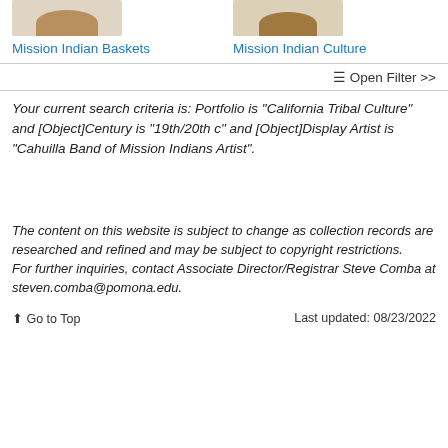[Figure (photo): Two thumbnail images of baskets, partially cropped at top]
Mission Indian Baskets
Mission Indian Culture
≡ Open Filter >>
Your current search criteria is: Portfolio is "California Tribal Culture" and [Object]Century is "19th/20th c" and [Object]Display Artist is "Cahuilla Band of Mission Indians Artist".
The content on this website is subject to change as collection records are researched and refined and may be subject to copyright restrictions.
For further inquiries, contact Associate Director/Registrar Steve Comba at steven.comba@pomona.edu.
⬆ Go to Top   Last updated: 08/23/2022